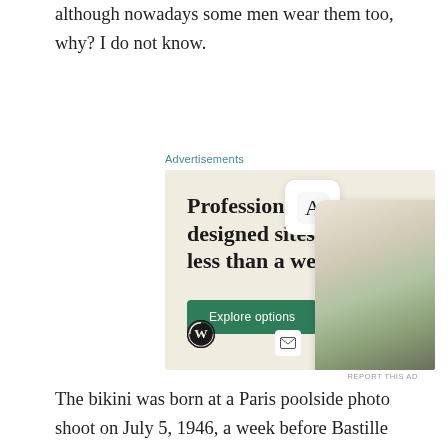although nowadays some men wear them too, why? I do not know.
Advertisements
[Figure (other): WordPress advertisement banner with beige background showing 'Professionally designed sites in less than a week' with a green 'Explore options' button, WordPress logo, and website mockup screenshots on the right side.]
REPORT THIS AD
The bikini was born at a Paris poolside photo shoot on July 5, 1946, a week before Bastille Day and in the midst a global textile shortage. The designer, former automobile